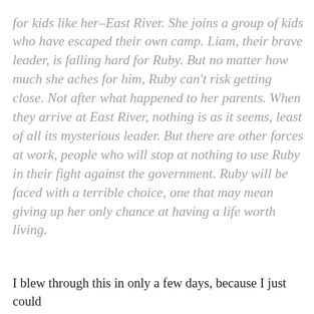for kids like her–East River. She joins a group of kids who have escaped their own camp. Liam, their brave leader, is falling hard for Ruby. But no matter how much she aches for him, Ruby can't risk getting close. Not after what happened to her parents. When they arrive at East River, nothing is as it seems, least of all its mysterious leader. But there are other forces at work, people who will stop at nothing to use Ruby in their fight against the government. Ruby will be faced with a terrible choice, one that may mean giving up her only chance at having a life worth living.
I blew through this in only a few days, because I just could